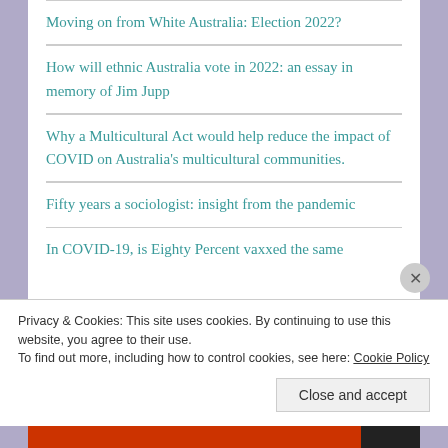Moving on from White Australia: Election 2022?
How will ethnic Australia vote in 2022: an essay in memory of Jim Jupp
Why a Multicultural Act would help reduce the impact of COVID on Australia’s multicultural communities.
Fifty years a sociologist: insight from the pandemic
In COVID-19, is Eighty Percent vaxxed the same
Privacy & Cookies: This site uses cookies. By continuing to use this website, you agree to their use.
To find out more, including how to control cookies, see here: Cookie Policy
Close and accept